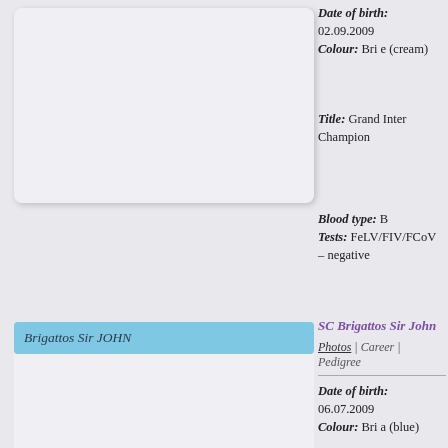[Figure (photo): White/light-colored empty photo placeholder box for first cat entry]
Date of birth: 02.09.2009
Colour: Bri e (cream)
Title: Grand Inter Champion
Blood type: B
Tests: FeLV/FIV/FCoV – negative
SC Brigattos Sir John
Photos | Career | Pedigree
[Figure (photo): Light-colored empty photo placeholder box for second cat entry]
Date of birth: 06.07.2009
Colour: Bri a (blue)